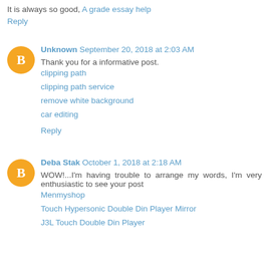It is always so good, A grade essay help
Reply
Unknown  September 20, 2018 at 2:03 AM
Thank you for a informative post.
clipping path
clipping path service
remove white background
car editing
Reply
Deba Stak  October 1, 2018 at 2:18 AM
WOW!...I'm having trouble to arrange my words, I'm very enthusiastic to see your post
Menmyshop
Touch Hypersonic Double Din Player Mirror
J3L Touch Double Din Player